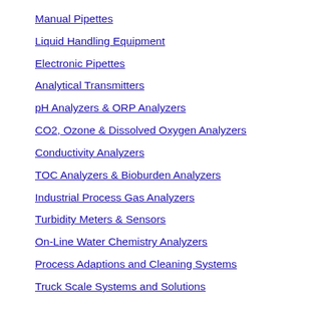Manual Pipettes
Liquid Handling Equipment
Electronic Pipettes
Analytical Transmitters
pH Analyzers & ORP Analyzers
CO2, Ozone & Dissolved Oxygen Analyzers
Conductivity Analyzers
TOC Analyzers & Bioburden Analyzers
Industrial Process Gas Analyzers
Turbidity Meters & Sensors
On-Line Water Chemistry Analyzers
Process Adaptions and Cleaning Systems
Truck Scale Systems and Solutions